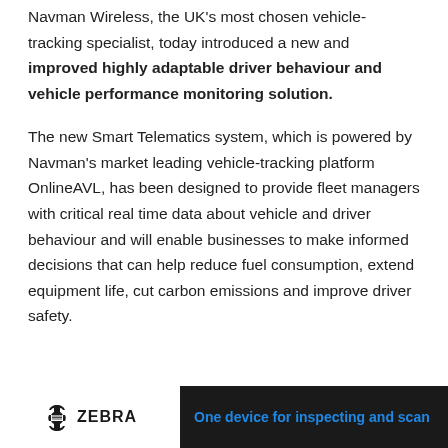Navman Wireless, the UK's most chosen vehicle-tracking specialist, today introduced a new and improved highly adaptable driver behaviour and vehicle performance monitoring solution.
The new Smart Telematics system, which is powered by Navman's market leading vehicle-tracking platform OnlineAVL, has been designed to provide fleet managers with critical real time data about vehicle and driver behaviour and will enable businesses to make informed decisions that can help reduce fuel consumption, extend equipment life, cut carbon emissions and improve driver safety.
[Figure (logo): Zebra Technologies logo with tagline 'One device for inspecting and scan...' on dark background banner at bottom of page]